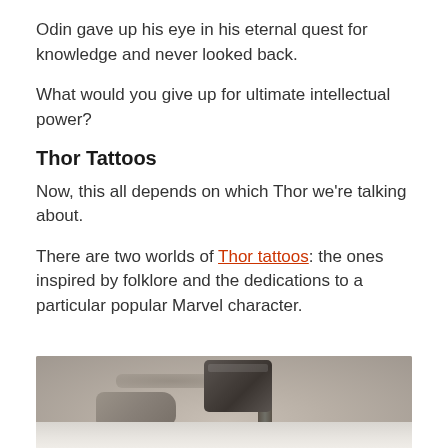Odin gave up his eye in his eternal quest for knowledge and never looked back.
What would you give up for ultimate intellectual power?
Thor Tattoos
Now, this all depends on which Thor we’re talking about.
There are two worlds of Thor tattoos: the ones inspired by folklore and the dedications to a particular popular Marvel character.
[Figure (photo): Black and grey tattoo photograph showing Mjolnir (Thor's hammer) being held in a fist, rendered in realistic style on skin]